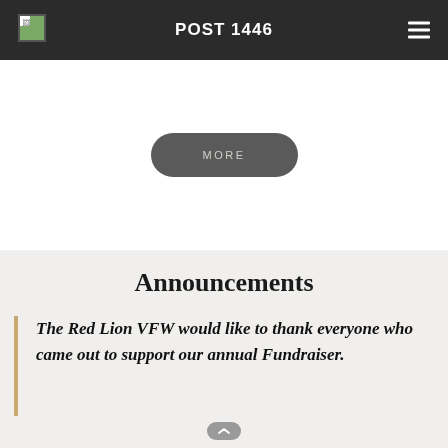POST 1446
MORE
Announcements
The Red Lion VFW would like to thank everyone who came out to support our annual Fundraiser.